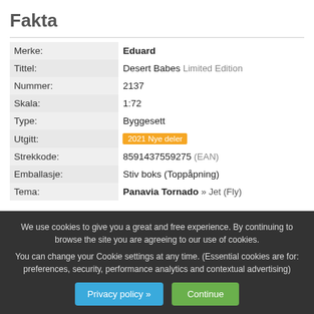Fakta
| Label | Value |
| --- | --- |
| Merke: | Eduard |
| Tittel: | Desert Babes Limited Edition |
| Nummer: | 2137 |
| Skala: | 1:72 |
| Type: | Byggesett |
| Utgitt: | 2021 Nye deler |
| Strekkode: | 8591437559275 (EAN) |
| Emballasje: | Stiv boks (Toppåpning) |
| Tema: | Panavia Tornado » Jet (Fly) |
We use cookies to give you a great and free experience. By continuing to browse the site you are agreeing to our use of cookies.
You can change your Cookie settings at any time. (Essential cookies are for: preferences, security, performance analytics and contextual advertising)
Privacy policy » Continue